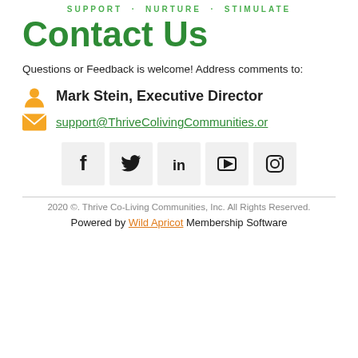SUPPORT · NURTURE · STIMULATE
Contact Us
Questions or Feedback is welcome! Address comments to:
Mark Stein, Executive Director
support@ThriveColivingCommunities.or
[Figure (infographic): Row of 5 social media icon buttons: Facebook, Twitter, LinkedIn, YouTube, Instagram]
2020 ©. Thrive Co-Living Communities, Inc. All Rights Reserved.
Powered by Wild Apricot Membership Software